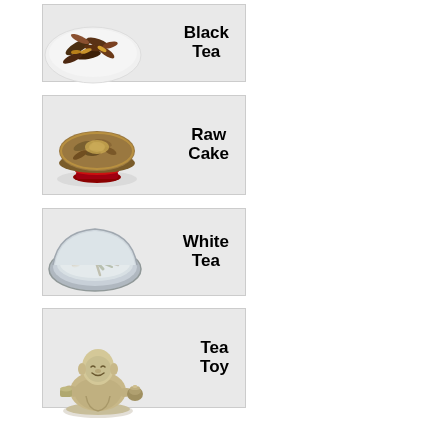[Figure (photo): Black tea loose leaves in a white bowl with label 'Black Tea']
[Figure (photo): Compressed raw pu-erh tea cake on a red stand with label 'Raw Cake']
[Figure (photo): White tea leaves in a silver bowl with label 'White Tea']
[Figure (photo): Small ceramic monk figure (tea toy) with label 'Tea Toy']